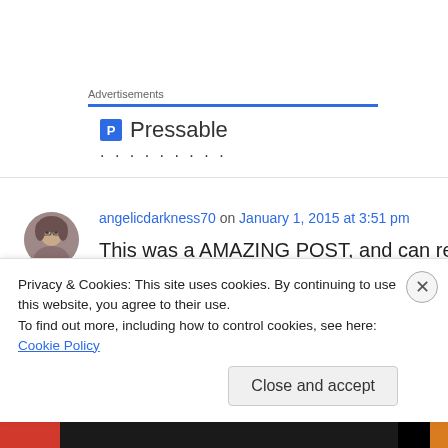Advertisements
[Figure (logo): Pressable logo with blue P icon and text 'Pressable' followed by dots]
angelicdarkness70 on January 1, 2015 at 3:51 pm
This was a AMAZING POST, and can relate to everything
you said. You couldn't have said it any better
Privacy & Cookies: This site uses cookies. By continuing to use this website, you agree to their use.
To find out more, including how to control cookies, see here: Cookie Policy
Close and accept